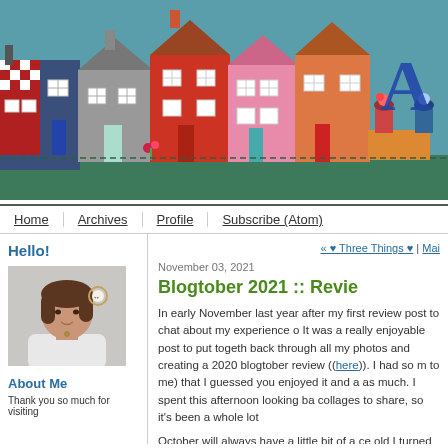[Figure (illustration): Blog header banner showing a row of colorful illustrated houses in a patchwork/fabric art style on a teal/blue background, with a large letter 'A' partially visible on the right side.]
Home | Archives | Profile | Subscribe (Atom)
Hello!
[Figure (photo): Portrait photo of a woman with shoulder-length brown hair wearing a white top and a necklace, with a decorative embroidery hoop visible on the wall behind her.]
About Me
Thank you so much for visiting
« ♥ Three Things ♥ | Mai
November 03, 2021
Blogtober 2021 :: Revie
In early November last year after my first review post to chat about my experience o It was a really enjoyable post to put togeth back through all my photos and creating a 2020 blogtober review ((here)). I had so m to me) that I guessed you enjoyed it and a as much. I spent this afternoon looking ba collages to share, so it's been a whole lot
October will always have a little bit of a ce old I turned 50 thi